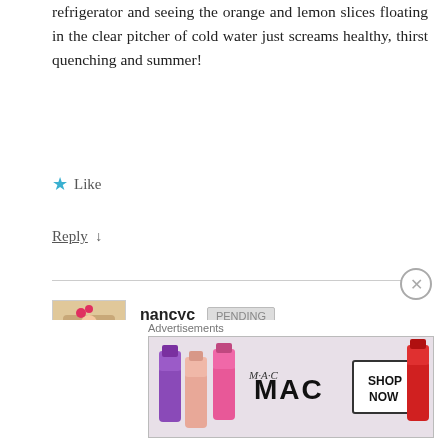refrigerator and seeing the orange and lemon slices floating in the clear pitcher of cold water just screams healthy, thirst quenching and summer!
★ Like
Reply ↓
nancyc — July 16, 2012 at 6:39
I like seeing all the colorful fruits in the water, too, Mary Ann– makes it so much more appealing!
Advertisements
[Figure (screenshot): MAC cosmetics advertisement banner showing lipsticks and SHOP NOW button]